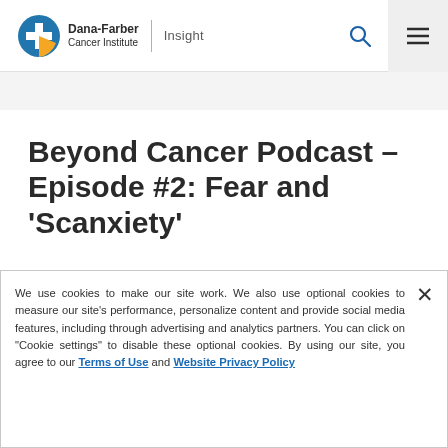Dana-Farber Cancer Institute | Insight
Beyond Cancer Podcast – Episode #2: Fear and 'Scanxiety'
We use cookies to make our site work. We also use optional cookies to measure our site's performance, personalize content and provide social media features, including through advertising and analytics partners. You can click on "Cookie settings" to disable these optional cookies. By using our site, you agree to our Terms of Use and Website Privacy Policy